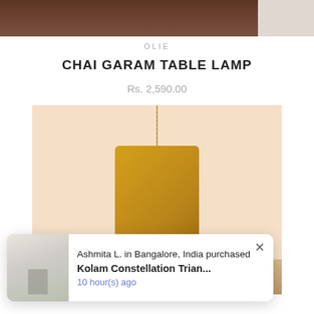[Figure (photo): Top portion of a product page showing a wooden furniture item partially visible at the top]
OLIE
CHAI GARAM TABLE LAMP
Rs. 2,590.00
[Figure (photo): Product image of a yellow cylindrical table lamp shade hanging on a chain against a peach/salmon background with a woven base visible at bottom]
Ashmita L. in Bangalore, India purchased
Kolam Constellation Trian...
10 hour(s) ago